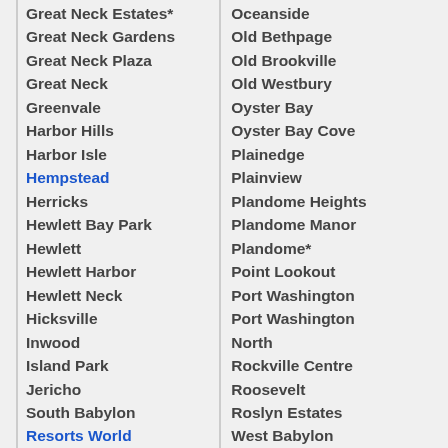Great Neck Estates*
Great Neck Gardens
Great Neck Plaza
Great Neck
Greenvale
Harbor Hills
Harbor Isle
Hempstead
Herricks
Hewlett Bay Park
Hewlett
Hewlett Harbor
Hewlett Neck
Hicksville
Inwood
Island Park
Jericho
South Babylon
Resorts World
Oceanside
Old Bethpage
Old Brookville
Old Westbury
Oyster Bay
Oyster Bay Cove
Plainedge
Plainview
Plandome Heights
Plandome Manor
Plandome*
Point Lookout
Port Washington
Port Washington North
Rockville Centre
Roosevelt
Roslyn Estates
West Babylon